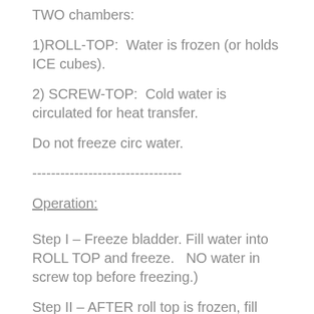TWO chambers:
1)ROLL-TOP:  Water is frozen (or holds ICE cubes).
2) SCREW-TOP:  Cold water is circulated for heat transfer.
Do not freeze circ water.
--------------------------------
Operation:
Step I – Freeze bladder. Fill water into  ROLL TOP and freeze.   NO water in screw top before freezing.)
Step II – AFTER roll top is frozen, fill circulation water in SCREW TOP chamber.
Step III – Connect ICE bladder to cooling unit